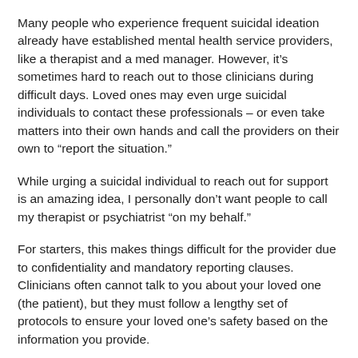Many people who experience frequent suicidal ideation already have established mental health service providers, like a therapist and a med manager. However, it’s sometimes hard to reach out to those clinicians during difficult days. Loved ones may even urge suicidal individuals to contact these professionals – or even take matters into their own hands and call the providers on their own to “report the situation.”
While urging a suicidal individual to reach out for support is an amazing idea, I personally don’t want people to call my therapist or psychiatrist “on my behalf.”
For starters, this makes things difficult for the provider due to confidentiality and mandatory reporting clauses. Clinicians often cannot talk to you about your loved one (the patient), but they must follow a lengthy set of protocols to ensure your loved one’s safety based on the information you provide.
More importantly, though, reporting suicidal ideation for someone else without their consent takes away their agency and ability to manage the situation on their own. Every time a loved one contacted